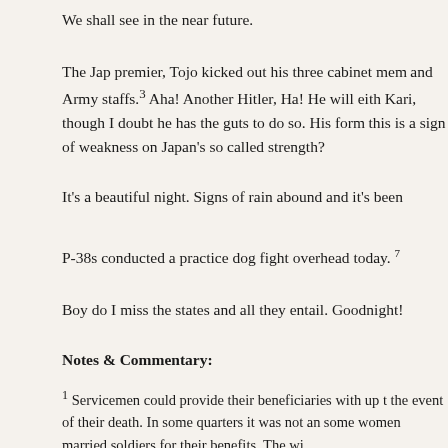We shall see in the near future.
The Jap premier, Tojo kicked out his three cabinet members and Army staffs.³ Aha! Another Hitler, Ha! He will either Kari, though I doubt he has the guts to do so. His form— this is a sign of weakness on Japan's so called strength?
It's a beautiful night. Signs of rain abound and it's been
P-38s conducted a practice dog fight overhead today.
Boy do I miss the states and all they entail. Goodnight!
Notes & Commentary:
¹ Servicemen could provide their beneficiaries with up to the event of their death. In some quarters it was not an some women married soldiers for their benefits. The w— We…